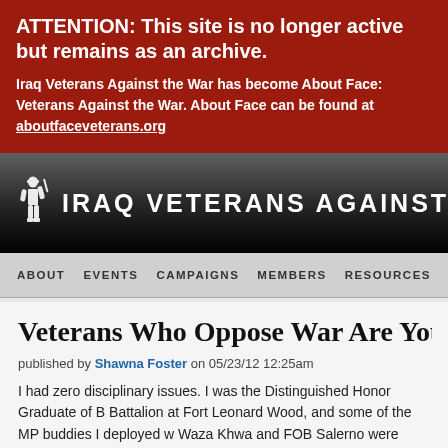ATTENTION: This site is no longer active but remains as an archive.
Iraq Veterans Against the War has become About Face: Veterans Against the War. About Face can be found at aboutfaceveterans.org
[Figure (logo): Iraq Veterans Against the War logo - soldier silhouette icon with organization name in large uppercase white stencil-style letters on dark gradient background]
ABOUT  EVENTS  CAMPAIGNS  MEMBERS  RESOURCES  PRESS  CONTA
Veterans Who Oppose War Are Your A
published by Shawna Foster on 05/23/12 12:25am
I had zero disciplinary issues. I was the Distinguished Honor Graduate of B Battalion at Fort Leonard Wood, and some of the MP buddies I deployed w Waza Khwa and FOB Salerno were among the Chicago police, with whom communicate with to ensure that our role in the protest was peaceful and c